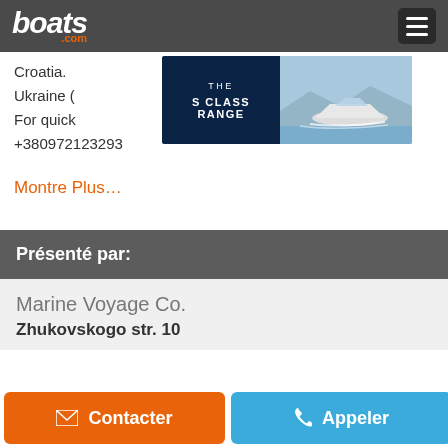boats.com
Croatia. Ukraine ( ope. For quick +380972123293
[Figure (advertisement): THE S CLASS RANGE advertisement banner with boat image on dark blue and sky background]
Montre Plus…
Présenté par:
Marine Voyage Co.
Zhukovskogo str. 10
Contacter
Appeler